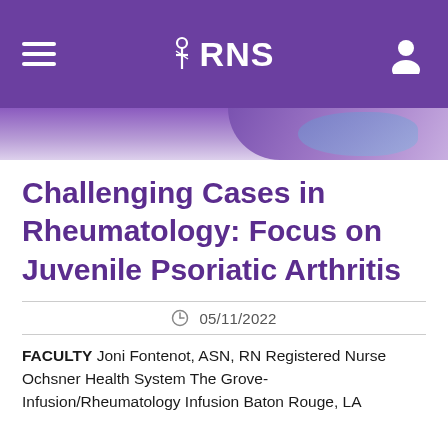RNS
[Figure (photo): Hero banner showing a partial image of a medical professional in purple/blue tones]
Challenging Cases in Rheumatology: Focus on Juvenile Psoriatic Arthritis
05/11/2022
FACULTY Joni Fontenot, ASN, RN Registered Nurse Ochsner Health System The Grove-Infusion/Rheumatology Infusion Baton Rouge, LA